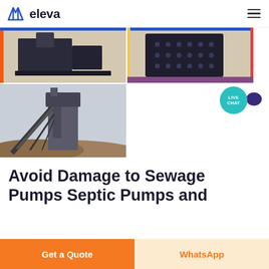eleva
[Figure (photo): Industrial machinery equipment on gravel surface - top left image]
[Figure (photo): Industrial perforated panel or screen equipment on gravel - top right image]
[Figure (photo): Large conveyor belt and industrial crushing/screening plant with piles of aggregate material]
Avoid Damage to Sewage Pumps Septic Pumps and
Get a Quote
WhatsApp